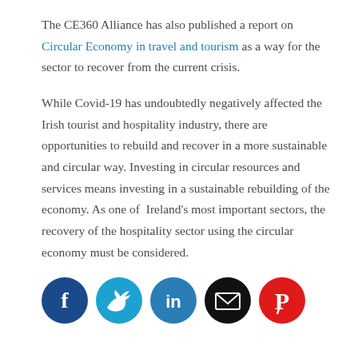The CE360 Alliance has also published a report on Circular Economy in travel and tourism as a way for the sector to recover from the current crisis.
While Covid-19 has undoubtedly negatively affected the Irish tourist and hospitality industry, there are opportunities to rebuild and recover in a more sustainable and circular way. Investing in circular resources and services means investing in a sustainable rebuilding of the economy. As one of Ireland's most important sectors, the recovery of the hospitality sector using the circular economy must be considered.
[Figure (infographic): Row of five social media share icons: Facebook (dark blue circle with white f), Twitter (light blue circle with white bird), LinkedIn (blue circle with white in), Email (black circle with white envelope), Pinterest (red circle with white P)]